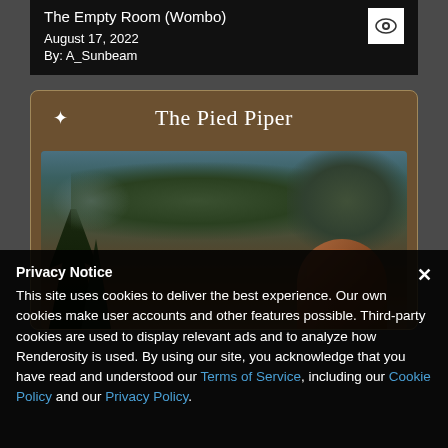The Empty Room (Wombo)
August 17, 2022
By: A_Sunbeam
[Figure (illustration): A card titled 'The Pied Piper' with a painterly fantasy illustration showing dark trees and a figure, set on a brown/golden background with rounded border.]
Privacy Notice
This site uses cookies to deliver the best experience. Our own cookies make user accounts and other features possible. Third-party cookies are used to display relevant ads and to analyze how Renderosity is used. By using our site, you acknowledge that you have read and understood our Terms of Service, including our Cookie Policy and our Privacy Policy.